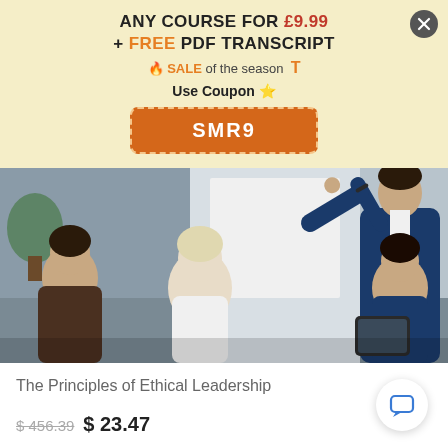ANY COURSE FOR £9.99 + FREE PDF TRANSCRIPT 🔥 SALE of the season T
Use Coupon ⭐
SMR9
[Figure (photo): A business presenter writing on a whiteboard while an audience of professionals watches, in a modern office setting.]
The Principles of Ethical Leadership
$456.39  $ 23.47